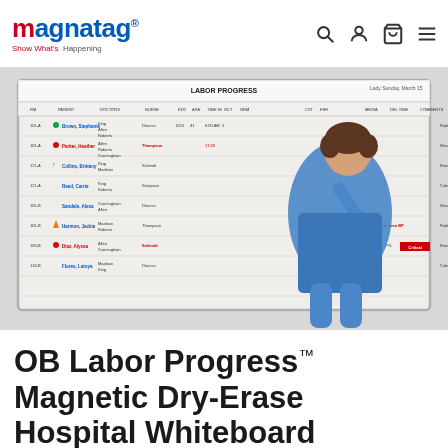Magnatag® Show What's Happening — navigation header with search, account, cart, and menu icons
[Figure (photo): A nurse in blue scrubs pointing at a large whiteboard labeled 'LABOR PROGRESS' with columns for patient tracking information. The whiteboard is mounted on a wall and shows rows of patient data with colored magnetic markers.]
OB Labor Progress™ Magnetic Dry-Erase Hospital Whiteboard